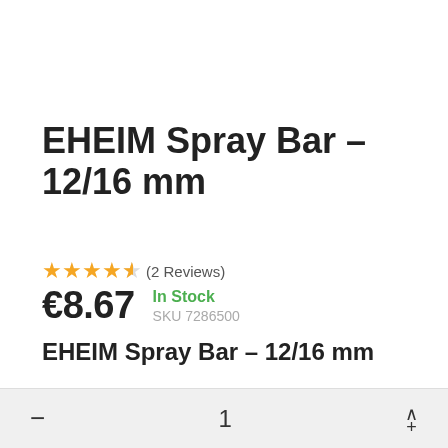EHEIM Spray Bar – 12/16 mm
★★★★☆ (2 Reviews)
€8.67  In Stock  SKU 7286500
EHEIM Spray Bar – 12/16 mm
- 1 +